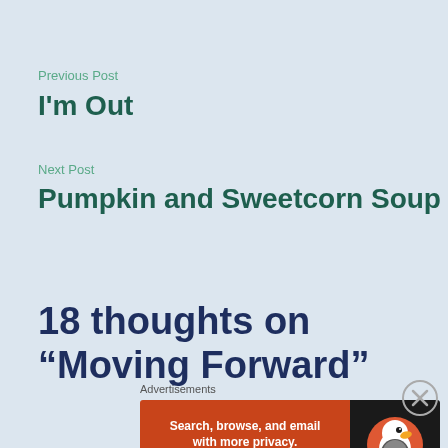Previous Post
I'm Out
Next Post
Pumpkin and Sweetcorn Soup
18 thoughts on “Moving Forward”
Advertisements
[Figure (other): DuckDuckGo advertisement banner: orange left side with text 'Search, browse, and email with more privacy. All in One Free App', dark right side with DuckDuckGo duck logo]